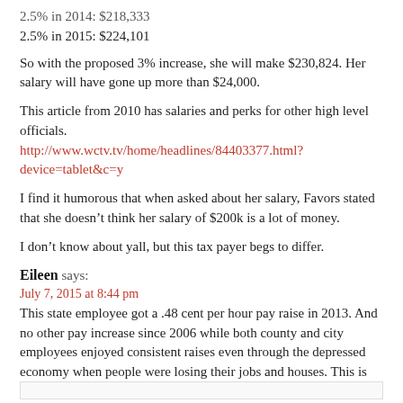2.5% in 2014: $218,333
2.5% in 2015: $224,101
So with the proposed 3% increase, she will make $230,824. Her salary will have gone up more than $24,000.
This article from 2010 has salaries and perks for other high level officials.
http://www.wctv.tv/home/headlines/84403377.html?device=tablet&c=y
I find it humorous that when asked about her salary, Favors stated that she doesn’t think her salary of $200k is a lot of money.
I don’t know about yall, but this tax payer begs to differ.
Eileen says:
July 7, 2015 at 8:44 pm
This state employee got a .48 cent per hour pay raise in 2013. And no other pay increase since 2006 while both county and city employees enjoyed consistent raises even through the depressed economy when people were losing their jobs and houses. This is unsustainable by the community.
Sylvia J. says:
July 7, 2015 at 7:37 pm
If you were listening today, several Commissioners did question them.